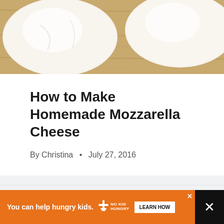[Figure (photo): Close-up photo of two white mozzarella cheese balls on a wooden cutting board, viewed from above. The background is a warm brown wood grain.]
How to Make Homemade Mozzarella Cheese
By Christina • July 27, 2016
[Figure (screenshot): No Kid Hungry advertisement banner: orange background with text 'You can help hungry kids.' and a 'LEARN HOW' button. The right side is dark with an X close button.]